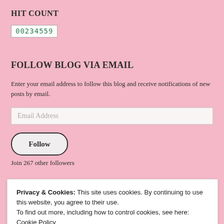HIT COUNT
00234559
FOLLOW BLOG VIA EMAIL
Enter your email address to follow this blog and receive notifications of new posts by email.
Email Address
Follow
Join 267 other followers
Privacy & Cookies: This site uses cookies. By continuing to use this website, you agree to their use.
To find out more, including how to control cookies, see here: Cookie Policy
Close and accept